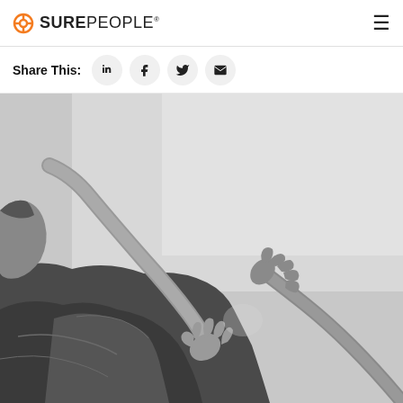SurePeople
Share This:
[Figure (photo): Black and white photo of two people reaching out their hands toward each other over a rocky cliff edge, symbolizing help or rescue.]